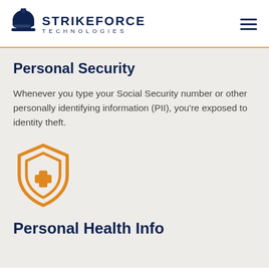[Figure (logo): StrikeForce Technologies logo with helmet icon and text STRIKEFORCE TECHNOLOGIES]
Personal Security
Whenever you type your Social Security number or other personally identifying information (PII), you're exposed to identity theft.
[Figure (illustration): Orange shield icon with medical cross symbol inside]
Personal Health Info